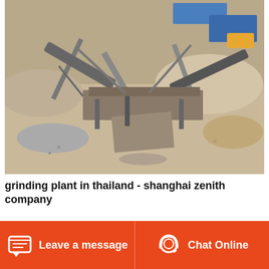[Figure (photo): Aerial/elevated view of an industrial grinding or crushing plant facility in Thailand, showing conveyor belts, machinery, excavated earth, rock piles, and industrial equipment on a dry construction/mining site.]
grinding plant in thailand - shanghai zenith company
Grinding Plant in Thailand. Capacity: 8 tons per hour. As a dolomite supplier for fertilizer company, the client in Tailand needs to get the dolomite powder in 100 mesh ( d90% ), 325 mesh ( 10% ), and the capacity required is 8 tons per hour. MTW series and MTM series are suitable for processing...
Leave a message   Chat Online